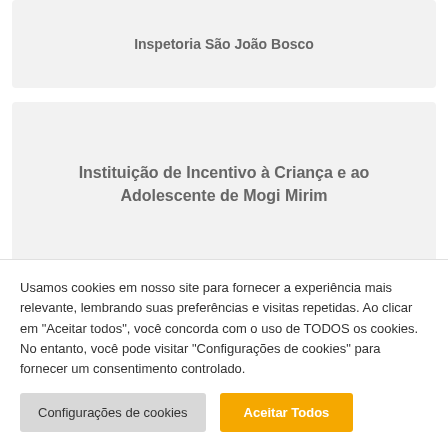Inspetoria São João Bosco
Instituição de Incentivo à Criança e ao Adolescente de Mogi Mirim
Usamos cookies em nosso site para fornecer a experiência mais relevante, lembrando suas preferências e visitas repetidas. Ao clicar em "Aceitar todos", você concorda com o uso de TODOS os cookies. No entanto, você pode visitar "Configurações de cookies" para fornecer um consentimento controlado.
Configurações de cookies
Aceitar Todos